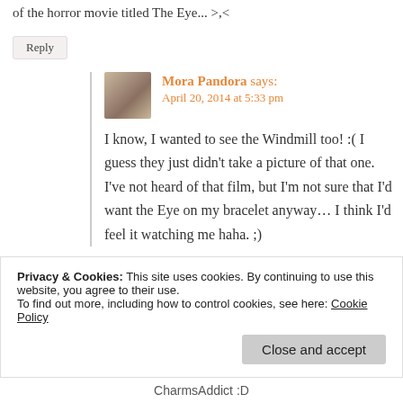of the horror movie titled The Eye... >,<
Reply
Mora Pandora says:
April 20, 2014 at 5:33 pm
I know, I wanted to see the Windmill too! :( I guess they just didn't take a picture of that one. I've not heard of that film, but I'm not sure that I'd want the Eye on my bracelet anyway... I think I'd feel it watching me haha. ;)
Privacy & Cookies: This site uses cookies. By continuing to use this website, you agree to their use.
To find out more, including how to control cookies, see here: Cookie Policy
Close and accept
CharmsAddict :D